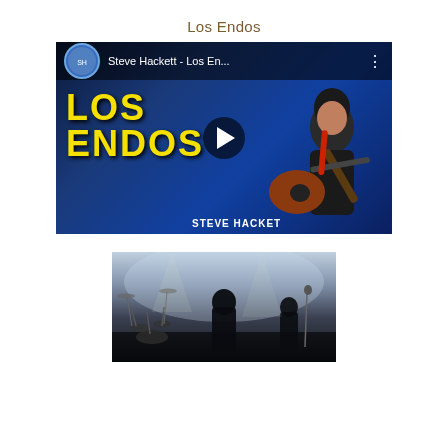Los Endos
[Figure (screenshot): YouTube video thumbnail showing Steve Hackett playing guitar with 'LOS ENDOS' text in yellow on blue background. Video title bar reads 'Steve Hackett - Los En...' with a three-dot menu icon. A circular play button is centered on the image. Bottom right shows 'STEVE HACKET' text.]
[Figure (photo): Concert/live performance photo showing musicians on a dimly lit stage with fog/haze, drum kit visible, figures silhouetted against stage lighting.]